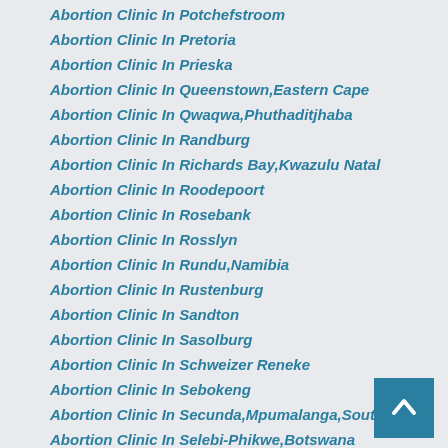Abortion Clinic In Potchefstroom
Abortion Clinic In Pretoria
Abortion Clinic In Prieska
Abortion Clinic In Queenstown,Eastern Cape
Abortion Clinic In Qwaqwa,Phuthaditjhaba
Abortion Clinic In Randburg
Abortion Clinic In Richards Bay,Kwazulu Natal
Abortion Clinic In Roodepoort
Abortion Clinic In Rosebank
Abortion Clinic In Rosslyn
Abortion Clinic In Rundu,Namibia
Abortion Clinic In Rustenburg
Abortion Clinic In Sandton
Abortion Clinic In Sasolburg
Abortion Clinic In Schweizer Reneke
Abortion Clinic In Sebokeng
Abortion Clinic In Secunda,Mpumalanga,South Africa
Abortion Clinic In Selebi-Phikwe,Botswana